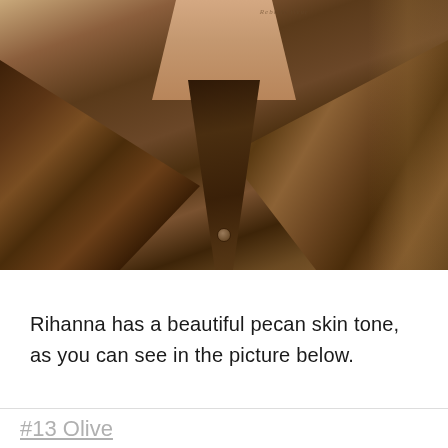[Figure (photo): Close-up photo of a person wearing a deep brown/bronze silky shirt with a V-neckline, showing skin at the chest area. A small tattoo is visible near the collarbone.]
Rihanna has a beautiful pecan skin tone, as you can see in the picture below.
#13 Olive